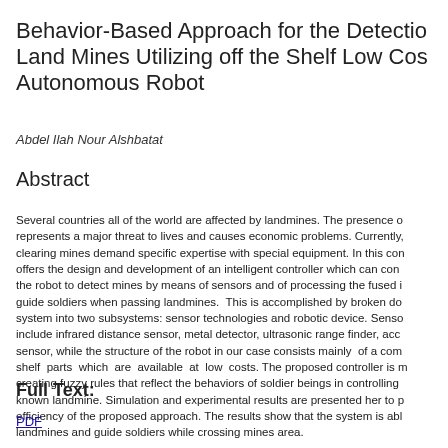Behavior-Based Approach for the Detection of Land Mines Utilizing off the Shelf Low Cost Autonomous Robot
Abdel Ilah Nour Alshbatat
Abstract
Several countries all of the world are affected by landmines. The presence of landmines represents a major threat to lives and causes economic problems. Currently, clearing mines demand specific expertise with special equipment. In this context, the paper offers the design and development of an intelligent controller which can control the robot to detect mines by means of sensors and of processing the fused information to guide soldiers when passing landmines. This is accomplished by broken down the system into two subsystems: sensor technologies and robotic device. Sensor technologies include infrared distance sensor, metal detector, ultrasonic range finder, accelerometer sensor, while the structure of the robot in our case consists mainly of a commercial off-the-shelf parts which are available at low costs. The proposed controller is modeled by creating fuzzy rules that reflect the behaviors of soldier beings in controlling the robot near a known landmine. Simulation and experimental results are presented her to prove the efficiency of the proposed approach. The results show that the system is able to detect landmines and guide soldiers while crossing mines area.
Full Text:
PDF